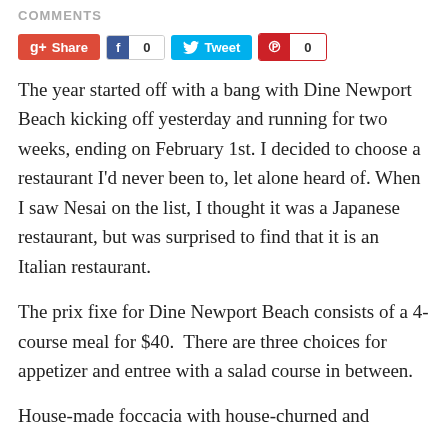COMMENTS
[Figure (other): Social sharing buttons: Google+ Share, Facebook (count: 0), Twitter Tweet, Pinterest (count: 0)]
The year started off with a bang with Dine Newport Beach kicking off yesterday and running for two weeks, ending on February 1st. I decided to choose a restaurant I'd never been to, let alone heard of. When I saw Nesai on the list, I thought it was a Japanese restaurant, but was surprised to find that it is an Italian restaurant.
The prix fixe for Dine Newport Beach consists of a 4-course meal for $40.  There are three choices for appetizer and entree with a salad course in between.
House-made foccacia with house-churned and